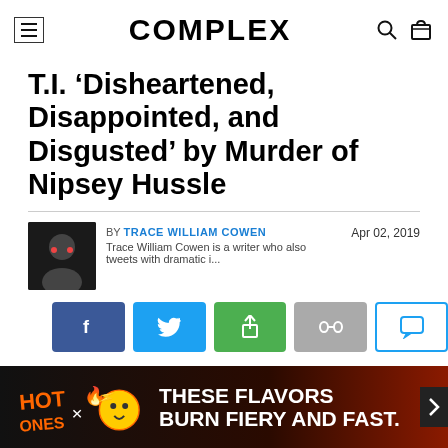COMPLEX
T.I. ‘Disheartened, Disappointed, and Disgusted’ by Murder of Nipsey Hussle
BY TRACE WILLIAM COWEN
Trace William Cowen is a writer who also tweets with dramatic i...
Apr 02, 2019
[Figure (infographic): Social sharing buttons: Facebook, Twitter, Share, Link, Comment]
[Figure (infographic): Advertisement banner: Hot Ones x [logo] - THESE FLAVORS BURN FIERY AND FAST.]